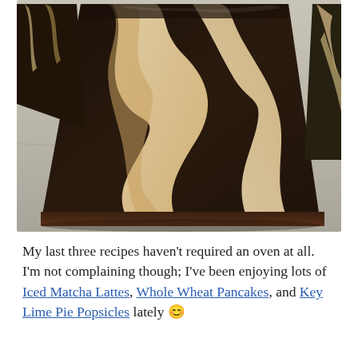[Figure (photo): Close-up photo of marble cheesecake brownies stacked on a wooden surface. The brownies show swirled dark chocolate and cream cheese layers with a distinctive zebra/marble pattern.]
My last three recipes haven't required an oven at all. I'm not complaining though; I've been enjoying lots of Iced Matcha Lattes, Whole Wheat Pancakes, and Key Lime Pie Popsicles lately 😊